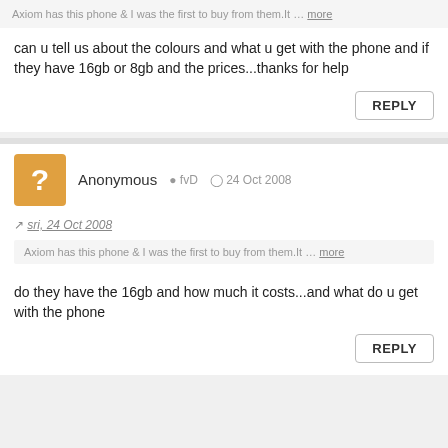Axiom has this phone & I was the first to buy from them.It … more
can u tell us about the colours and what u get with the phone and if they have 16gb or 8gb and the prices...thanks for help
REPLY
Anonymous   fvD   24 Oct 2008
sri, 24 Oct 2008
Axiom has this phone & I was the first to buy from them.It … more
do they have the 16gb and how much it costs...and what do u get with the phone
REPLY